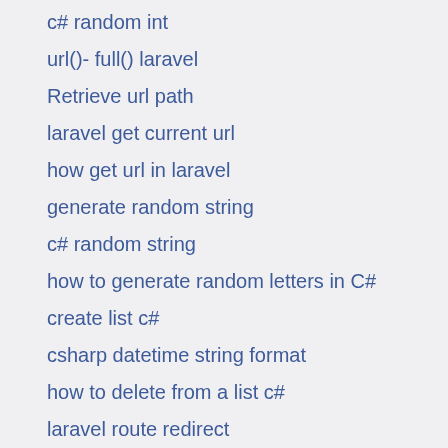c# random int
url()- full() laravel
Retrieve url path
laravel get current url
how get url in laravel
generate random string
c# random string
how to generate random letters in C#
create list c#
csharp datetime string format
how to delete from a list c#
laravel route redirect
c# serialize json
hello world c